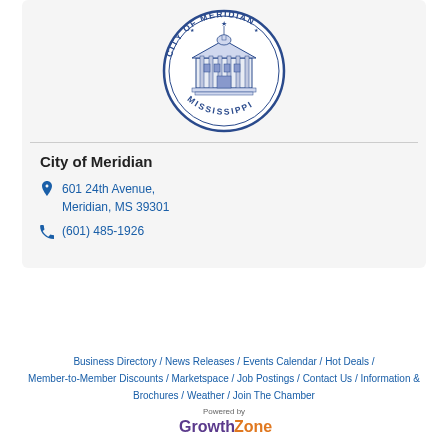[Figure (logo): City of Meridian, Mississippi official seal — circular emblem with a government building illustration and text around the border reading CITY OF MERIDIAN MISSISSIPPI]
City of Meridian
601 24th Avenue, Meridian, MS 39301
(601) 485-1926
Business Directory / News Releases / Events Calendar / Hot Deals / Member-to-Member Discounts / Marketspace / Job Postings / Contact Us / Information & Brochures / Weather / Join The Chamber
[Figure (logo): Powered by GrowthZone logo]